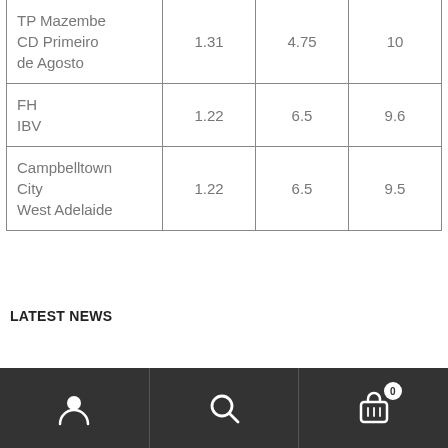| Team | Col1 | Col2 | Col3 |
| --- | --- | --- | --- |
| TP Mazembe CD Primeiro de Agosto | 1.31 | 4.75 | 10 |
| FH IBV | 1.22 | 6.5 | 9.6 |
| Campbelltown City West Adelaide | 1.22 | 6.5 | 9.5 |
LATEST NEWS
[Figure (other): Bottom navigation bar with user icon, search icon, and cart icon with badge showing 0]